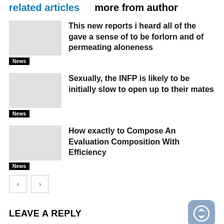related articles   more from author
This new reports i heard all of the gave a sense of to be forlorn and of permeating aloneness
News
Sexually, the INFP is likely to be initially slow to open up to their mates
News
How exactly to Compose An Evaluation Composition With Efficiency
News
LEAVE A REPLY